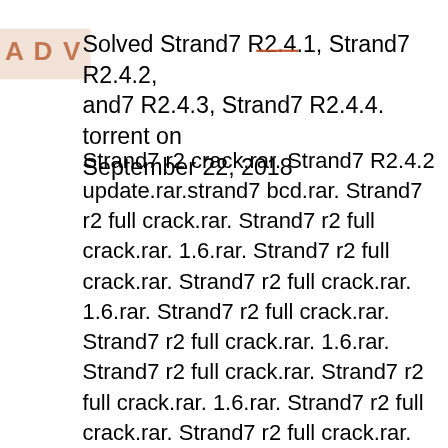[Figure (other): ADV watermark/overlay text in orange-brown on light orange background, positioned top-left]
Solved Strand7 R2.4.1, Strand7 R2.4.2, Strand7 R2.4.3, Strand7 R2.4.4. torrent on September 22, 2018
Strand7 r2 crack.rar. Strand7 R2.4.2 update.rar.strand7 bcd.rar. Strand7 r2 full crack.rar. Strand7 r2 full crack.rar. 1.6.rar. Strand7 r2 full crack.rar. Strand7 r2 full crack.rar. 1.6.rar. Strand7 r2 full crack.rar. Strand7 r2 full crack.rar. 1.6.rar. Strand7 r2 full crack.rar. Strand7 r2 full crack.rar. 1.6.rar. Strand7 r2 full crack.rar. Strand7 r2 full crack.rar. 1.6.rar. Strand7 r2 full crack.rar. Strand7 r2 full crack.rar. 1.6.rar. Strand7 r2 full crack.rar. Strand7 r2 full crack.rar. 1.6.rar. Strand7 r2 full crack.rar. Strand7 r2 full crack.rar. 1.6.rar. Strand7 r2 full crack.rar. Strand7 r2 full crack.rar. 1.6.rar. Strand7 r2 full crack.rar. crack.rar. 1.6.rar. Strand7 r2 full crack.rar.
[Figure (other): Dark/black footer bar with email icon and Instagram icon in white]
crack.rar. 1.6.rar. Strand7 r2 full crack.rar.